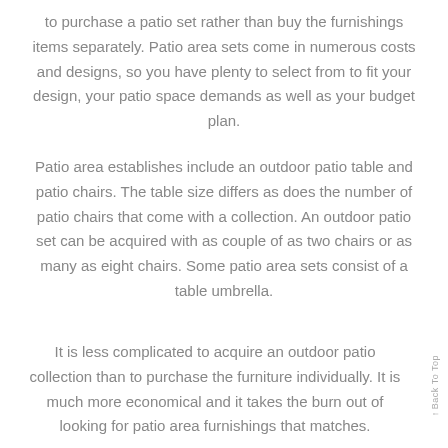to purchase a patio set rather than buy the furnishings items separately. Patio area sets come in numerous costs and designs, so you have plenty to select from to fit your design, your patio space demands as well as your budget plan.
Patio area establishes include an outdoor patio table and patio chairs. The table size differs as does the number of patio chairs that come with a collection. An outdoor patio set can be acquired with as couple of as two chairs or as many as eight chairs. Some patio area sets consist of a table umbrella.
It is less complicated to acquire an outdoor patio collection than to purchase the furniture individually. It is much more economical and it takes the burn out of looking for patio area furnishings that matches.